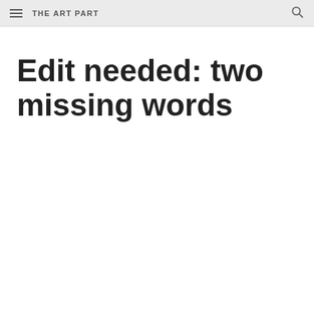THE ART PART
Edit needed: two missing words